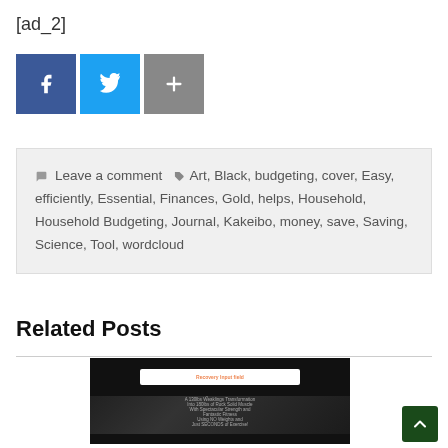[ad_2]
[Figure (other): Social share buttons: Facebook (blue), Twitter (cyan), Plus/more (grey)]
Leave a comment  Art, Black, budgeting, cover, Easy, efficiently, Essential, Finances, Gold, helps, Household, Household Budgeting, Journal, Kakeibo, money, save, Saving, Science, Tool, wordcloud
Related Posts
[Figure (screenshot): Screenshot of a fitness/body transformation website showing 'TO A PERFECT BODY' with marketing text about a scientific method for muscle transformation]